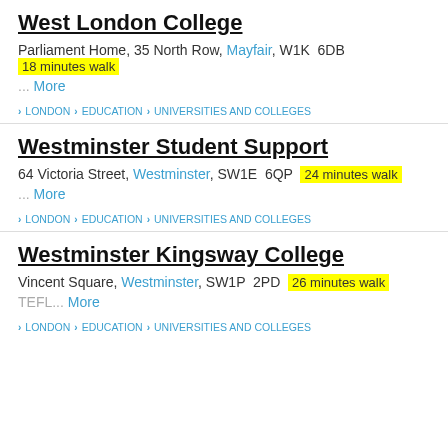West London College
Parliament Home, 35 North Row, Mayfair, W1K 6DB  18 minutes walk
... More
> LONDON > EDUCATION > UNIVERSITIES AND COLLEGES
Westminster Student Support
64 Victoria Street, Westminster, SW1E 6QP  24 minutes walk
... More
> LONDON > EDUCATION > UNIVERSITIES AND COLLEGES
Westminster Kingsway College
Vincent Square, Westminster, SW1P 2PD  26 minutes walk
TEFL... More
> LONDON > EDUCATION > UNIVERSITIES AND COLLEGES